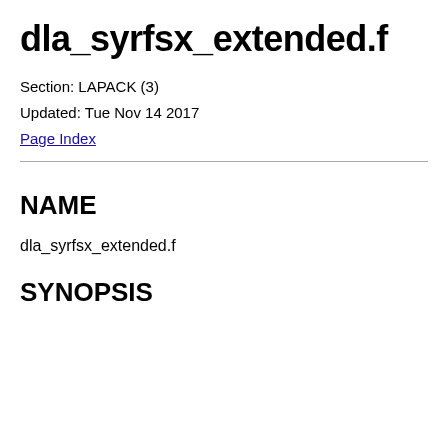dla_syrfsx_extended.f
Section: LAPACK (3)
Updated: Tue Nov 14 2017
Page Index
NAME
dla_syrfsx_extended.f
SYNOPSIS